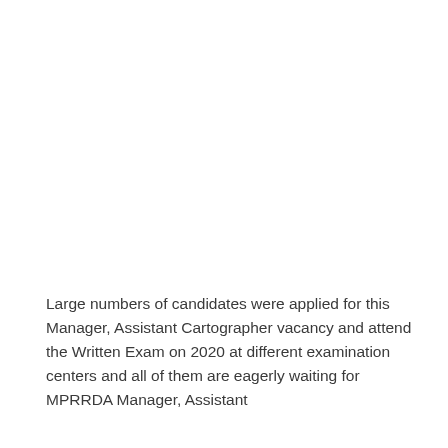Large numbers of candidates were applied for this Manager, Assistant Cartographer vacancy and attend the Written Exam on 2020 at different examination centers and all of them are eagerly waiting for MPRRDA Manager, Assistant